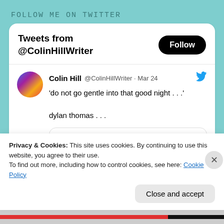FOLLOW ME ON TWITTER
Tweets from @ColinHillWriter
Colin Hill @ColinHillWriter · Mar 24
'do not go gentle into that good night . . .'

dylan thomas . . .
aucharbon @alcarbon68 · Mar 24
Carl Mydans
Privacy & Cookies: This site uses cookies. By continuing to use this website, you agree to their use.
To find out more, including how to control cookies, see here: Cookie Policy
Close and accept